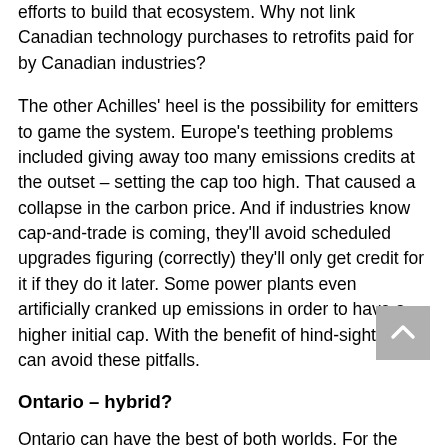efforts to build that ecosystem. Why not link Canadian technology purchases to retrofits paid for by Canadian industries?
The other Achilles' heel is the possibility for emitters to game the system. Europe's teething problems included giving away too many emissions credits at the outset – setting the cap too high. That caused a collapse in the carbon price. And if industries know cap-and-trade is coming, they'll avoid scheduled upgrades figuring (correctly) they'll only get credit for it if they do it later. Some power plants even artificially cranked up emissions in order to have a higher initial cap. With the benefit of hind-sight we can avoid these pitfalls.
Ontario – hybrid?
Ontario can have the best of both worlds. For the short